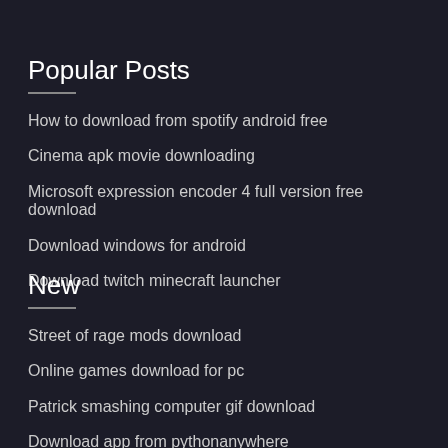Popular Posts
How to download from spotify android free
Cinema apk movie downloading
Microsoft expression encoder 4 full version free download
Download windows for android
Download twitch minecraft launcher
New
Street of rage mods download
Online games download for pc
Patrick smashing computer gif download
Download app from pythonanywhere
Nbcsn sports download app